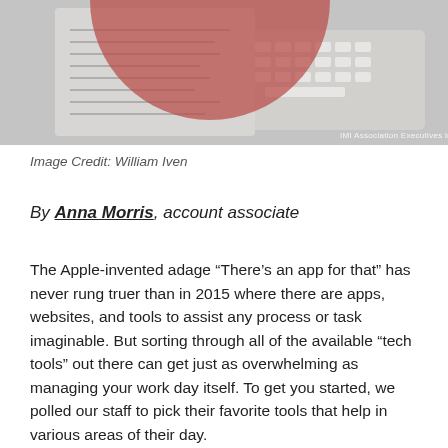[Figure (photo): A photo of a tablet/laptop with a keyboard, overlaid with a large semi-transparent red circle. Watermark reads 'IMI Association Executives   imiae.com']
Image Credit: William Iven
By Anna Morris, account associate
The Apple-invented adage “There’s an app for that” has never rung truer than in 2015 where there are apps, websites, and tools to assist any process or task imaginable. But sorting through all of the available “tech tools” out there can get just as overwhelming as managing your work day itself. To get you started, we polled our staff to pick their favorite tools that help in various areas of their day.